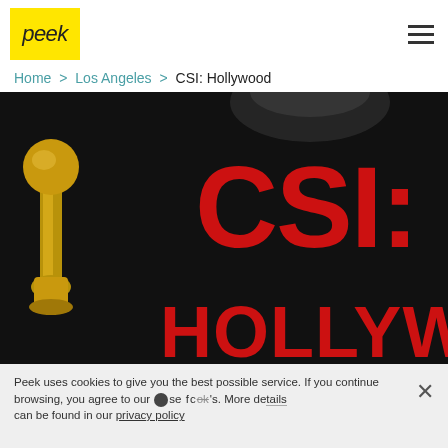[Figure (logo): Peek logo: yellow rectangle with italic 'peek' text in dark color]
Home > Los Angeles > CSI: Hollywood
[Figure (photo): Dark photo of CSI: Hollywood signage with large red letters on black background and a golden trophy/statue on the left side]
Peek uses cookies to give you the best possible service. If you continue browsing, you agree to our use of cookies. More details can be found in our privacy policy